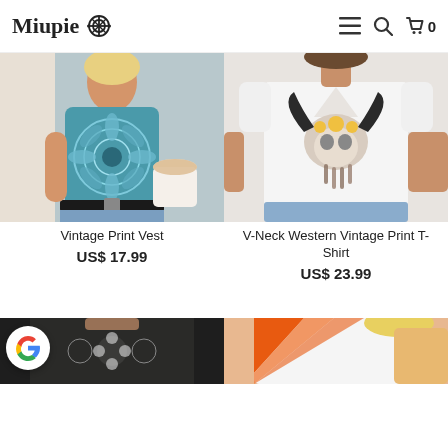Miupie [logo] | menu icon | search icon | cart 0
[Figure (photo): Woman wearing teal blue mandala print vest top, holding a latte coffee cup, wearing denim shorts with black belt]
Vintage Print Vest
US$ 17.99
[Figure (photo): Woman wearing white V-neck t-shirt with western bison skull and sunflowers print, wearing denim cut-off shorts]
V-Neck Western Vintage Print T-Shirt
US$ 23.99
[Figure (photo): Partial view of dark floral embroidered top product image (bottom row, left)]
[Figure (photo): Partial view of orange and white striped top product image (bottom row, right)]